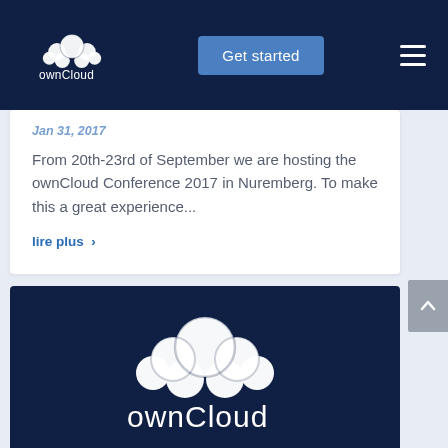ownCloud - Get started
Jan 31, 2017
From 20th-23rd of September we are hosting the ownCloud Conference 2017 in Nuremberg. To make this a great experience...
lire plus ›
[Figure (logo): ownCloud logo — white cloud circles above white ownCloud wordmark on dark navy background]